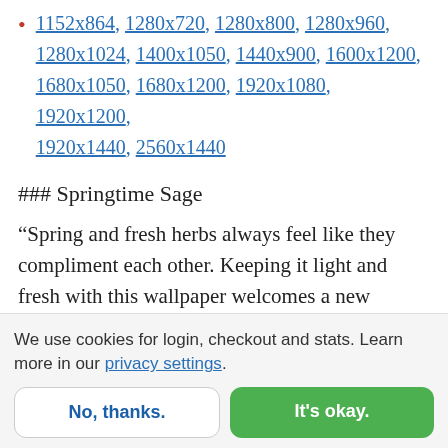1152x864, 1280x720, 1280x800, 1280x960, 1280x1024, 1400x1050, 1440x900, 1600x1200, 1680x1050, 1680x1200, 1920x1080, 1920x1200, 1920x1440, 2560x1440
### Springtime Sage
“Spring and fresh herbs always feel like they compliment each other. Keeping it light and fresh with this wallpaper welcomes a new season!” — Designed by Susan Chiang from the United States.
We use cookies for login, checkout and stats. Learn more in our privacy settings.